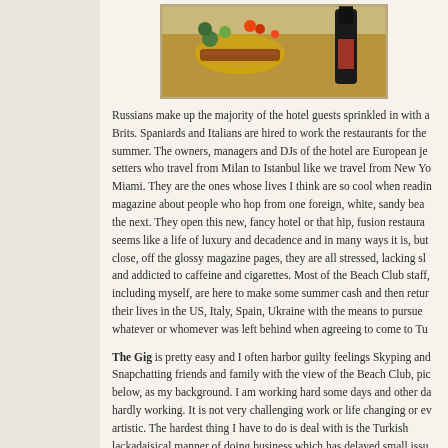[Figure (photo): Overhead view of food spread on a table with vegetables, grilled items, and a wine bottle]
Russians make up the majority of the hotel guests sprinkled in with a Brits. Spaniards and Italians are hired to work the restaurants for the summer. The owners, managers and DJs of the hotel are European jet setters who travel from Milan to Istanbul like we travel from New York Miami. They are the ones whose lives I think are so cool when reading a magazine about people who hop from one foreign, white, sandy beach to the next. They open this new, fancy hotel or that hip, fusion restaurant. It seems like a life of luxury and decadence and in many ways it is, but up close, off the glossy magazine pages, they are all stressed, lacking sleep and addicted to caffeine and cigarettes. Most of the Beach Club staff, including myself, are here to make some summer cash and then return to their lives in the US, Italy, Spain, Ukraine with the means to pursue whatever or whomever was left behind when agreeing to come to Turkey.
The Gig is pretty easy and I often harbor guilty feelings Skyping and Snapchatting friends and family with the view of the Beach Club, pictured below, as my background. I am working hard some days and other days hardly working. It is not very challenging work or life changing or even artistic. The hardest thing I have to do is deal with is the Turkish lackadaisical manner of doing business which has delayed small issues becoming larger ones.